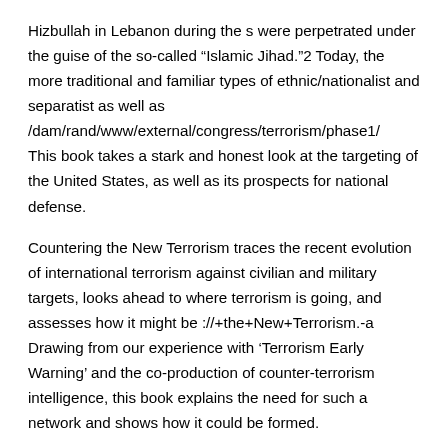Hizbullah in Lebanon during the s were perpetrated under the guise of the so-called “Islamic Jihad.”2 Today, the more traditional and familiar types of ethnic/nationalist and separatist as well as /dam/rand/www/external/congress/terrorism/phase1/    This book takes a stark and honest look at the targeting of the United States, as well as its prospects for national defense.
Countering the New Terrorism traces the recent evolution of international terrorism against civilian and military targets, looks ahead to where terrorism is going, and assesses how it might be ://+the+New+Terrorism.-a Drawing from our experience with ‘Terrorism Early Warning’ and the co-production of counter-terrorism intelligence, this book explains the need for such a network and shows how it could be formed.
It compiles the opinions of experts from clinical medicine, public policy, law enforcement and the ://    Countering the New Terrorism is an insightful and practical volume forthose involved in the world of counterterrorist policy.